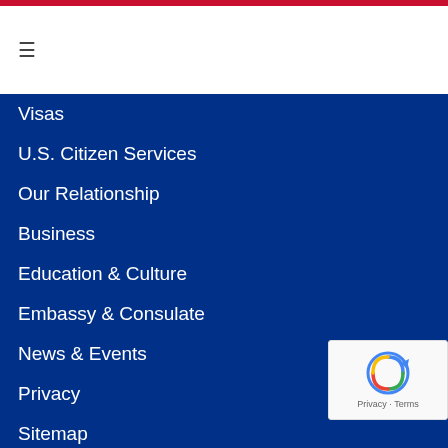☰
Visas
U.S. Citizen Services
Our Relationship
Business
Education & Culture
Embassy & Consulate
News & Events
Privacy
Sitemap
U.S. EMBASSY
U.S. Embassy Nur-Sultan